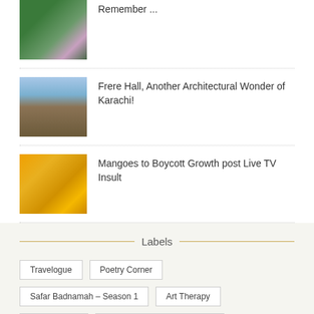Remember ...
Frere Hall, Another Architectural Wonder of Karachi!
Mangoes to Boycott Growth post Live TV Insult
Labels
Travelogue
Poetry Corner
Safar Badnamah – Season 1
Art Therapy
Photography
Safar Badnamah – Season 3
Nazia The Vampiress